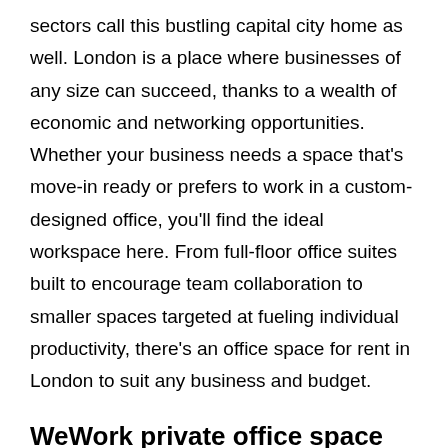sectors call this bustling capital city home as well. London is a place where businesses of any size can succeed, thanks to a wealth of economic and networking opportunities. Whether your business needs a space that's move-in ready or prefers to work in a custom-designed office, you'll find the ideal workspace here. From full-floor office suites built to encourage team collaboration to smaller spaces targeted at fueling individual productivity, there's an office space for rent in London to suit any business and budget.
WeWork private office space for rent
WeWork office space is the only flexible workspace solution your business needs. Whether you're starting as a one-person show or a global fortune-500 company, our office space products are built for each type of